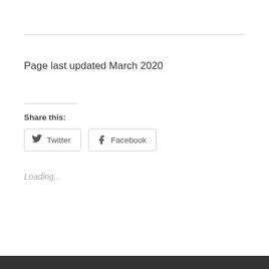Page last updated March 2020
Share this:
Twitter
Facebook
Loading...